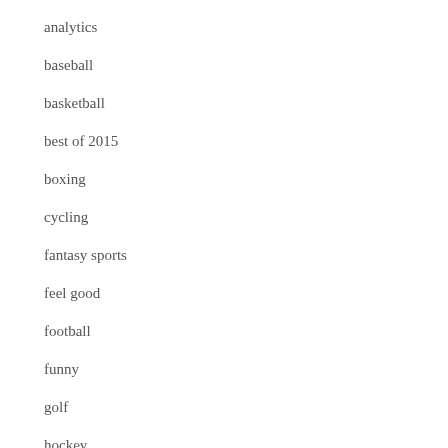analytics
baseball
basketball
best of 2015
boxing
cycling
fantasy sports
feel good
football
funny
golf
hockey
horse racing
legal